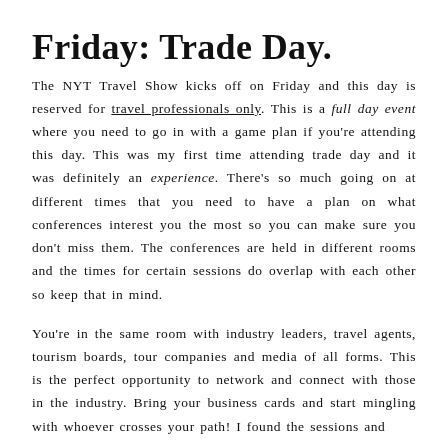Friday: Trade Day.
The NYT Travel Show kicks off on Friday and this day is reserved for travel professionals only. This is a full day event where you need to go in with a game plan if you're attending this day. This was my first time attending trade day and it was definitely an experience. There's so much going on at different times that you need to have a plan on what conferences interest you the most so you can make sure you don't miss them. The conferences are held in different rooms and the times for certain sessions do overlap with each other so keep that in mind.
You're in the same room with industry leaders, travel agents, tourism boards, tour companies and media of all forms. This is the perfect opportunity to network and connect with those in the industry. Bring your business cards and start mingling with whoever crosses your path! I found the sessions and